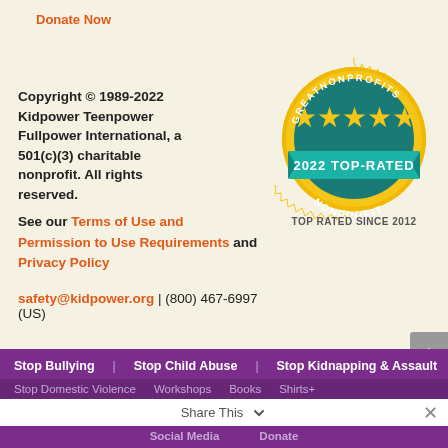Donate Now
Copyright © 1989-2022 Kidpower Teenpower Fullpower International, a 501(c)(3) charitable nonprofit. All rights reserved.
See our Terms of Use and Permission to Use Requirements and Privacy Policy
[Figure (illustration): GreatNonprofits 2022 Top-Rated Nonprofit badge/seal, gold and teal colored. Text reads GREATNONPROFITS around top, 2022 TOP-RATED on teal banner, NONPROFIT around bottom. Five gold stars in center. Below badge: TOP RATED SINCE 2012]
TOP RATED SINCE 2012
safety@kidpower.org  |  (800) 467-6997 (US)
Stop Bullying | Stop Child Abuse | Stop Kidnapping & Assault | Stop Domestic Violence | Workshops | Books | Shirts+ | Social Media | Donate
Share This